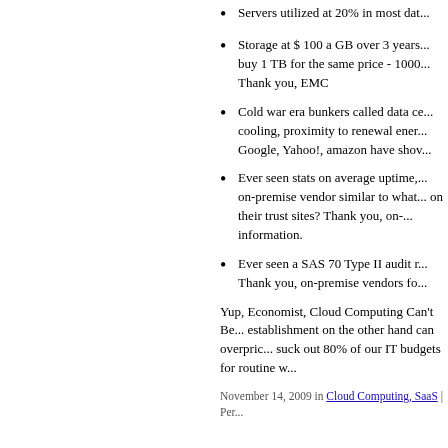Servers utilized at 20% in most dat...
Storage at $ 100 a GB over 3 years... buy 1 TB for the same price - 1000... Thank you, EMC
Cold war era bunkers called data ce... cooling, proximity to renewal ener... Google, Yahoo!, amazon have shov...
Ever seen stats on average uptime,... on-premise vendor similar to what... on their trust sites? Thank you, on-... information.
Ever seen a SAS 70 Type II audit r... Thank you, on-premise vendors fo...
Yup, Economist, Cloud Computing Can't Be... establishment on the other hand can overpric... suck out 80% of our IT budgets for routine w...
November 14, 2009 in Cloud Computing, SaaS | Per...